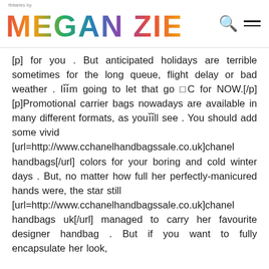tfdiaries by MEGAN ZIETZ
[p] for you . But anticipated holidays are terrible sometimes for the long queue, flight delay or bad weather . I’m going to let that go ¬ for NOW.[/p][p]Promotional carrier bags nowadays are available in many different formats, as you’ll see . You should add some vivid [url=http://www.cchanelhandbagssale.co.uk]chanel handbags[/url] colors for your boring and cold winter days . But, no matter how full her perfectly-manicured hands were, the star still [url=http://www.cchanelhandbagssale.co.uk]chanel handbags uk[/url] managed to carry her favourite designer handbag . But if you want to fully encapsulate her look,